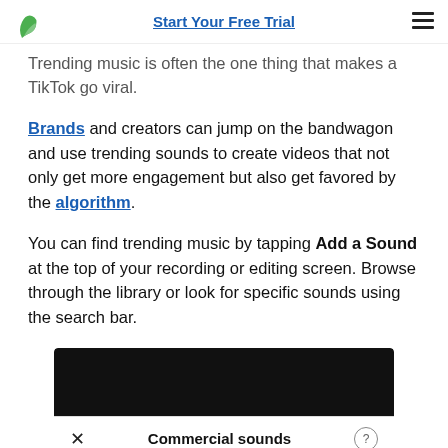Start Your Free Trial
Trending music is often the one thing that makes a TikTok go viral.
Brands and creators can jump on the bandwagon and use trending sounds to create videos that not only get more engagement but also get favored by the algorithm.
You can find trending music by tapping Add a Sound at the top of your recording or editing screen. Browse through the library or look for specific sounds using the search bar.
[Figure (screenshot): Screenshot of TikTok app showing Commercial sounds panel with a search bar, black top bar and white bottom panel]